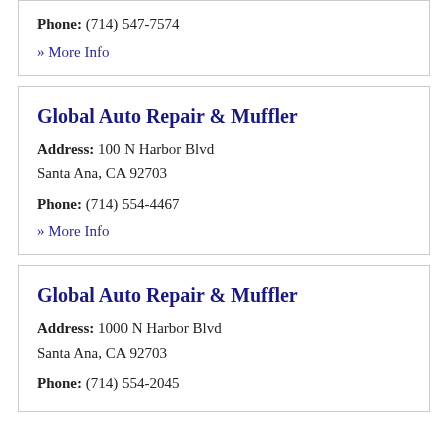Phone: (714) 547-7574
» More Info
Global Auto Repair & Muffler
Address: 100 N Harbor Blvd Santa Ana, CA 92703
Phone: (714) 554-4467
» More Info
Global Auto Repair & Muffler
Address: 1000 N Harbor Blvd Santa Ana, CA 92703
Phone: (714) 554-2045